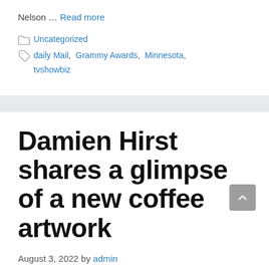Nelson … Read more
Uncategorized
daily Mail, Grammy Awards, Minnesota, tvshowbiz
Damien Hirst shares a glimpse of a new coffee artwork
August 3, 2022 by admin
Scary naughty artist Damien Hirst shares a